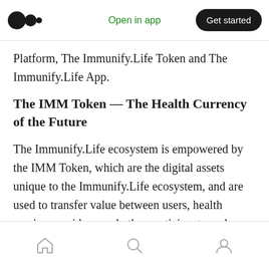Open in app | Get started
Platform, The Immunify.Life Token and The Immunify.Life App.
The IMM Token — The Health Currency of the Future
The Immunify.Life ecosystem is empowered by the IMM Token, which are the digital assets unique to the Immunify.Life ecosystem, and are used to transfer value between users, health service providers, and other participants such as third-party organizations.
Home | Search | Profile